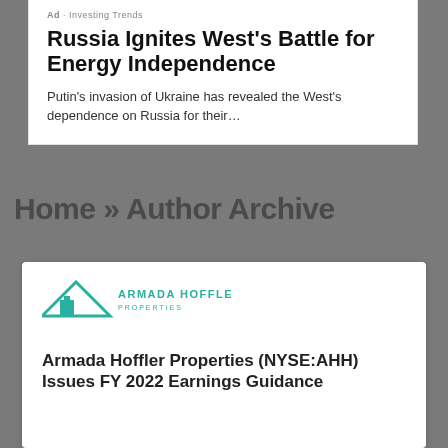Ad · Investing Trends
Russia Ignites West's Battle for Energy Independence
Putin's invasion of Ukraine has revealed the West's dependence on Russia for their…
Home » Author Archive
[Figure (logo): Armada Hoffler Properties logo with teal triangle/building icon and text ARMADA HOFFLER PROPERTIES]
Armada Hoffler Properties (NYSE:AHH) Issues FY 2022 Earnings Guidance